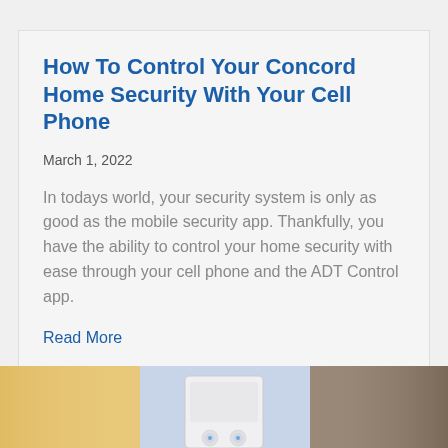How To Control Your Concord Home Security With Your Cell Phone
March 1, 2022
In todays world, your security system is only as good as the mobile security app. Thankfully, you have the ability to control your home security with ease through your cell phone and the ADT Control app.
Read More
[Figure (photo): Photo strip showing a blurred home interior background with a security panel device visible at the bottom of the page]